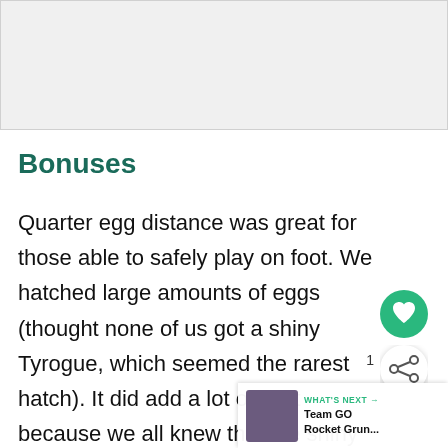[Figure (photo): Gray placeholder image area at top of page]
Bonuses
Quarter egg distance was great for those able to safely play on foot. We hatched large amounts of eggs (thought none of us got a shiny Tyrogue, which seemed the rarest hatch). It did add a lot of cost because we all knew that the shiny rates for the baby Pokémon would be decent, but that was our own decision! Having the babies in the 2km eggs worked so well, if they had been in eggs it would have been much trickier to keep open egg spaces to open gifts. Having the more